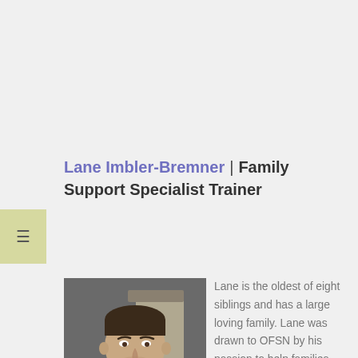Lane Imbler-Bremner | Family Support Specialist Trainer
[Figure (photo): Headshot photo of Lane Imbler-Bremner, a man wearing a black jacket with a red lanyard, seated in front of a neutral background.]
Lane is the oldest of eight siblings and has a large loving family. Lane was drawn to OFSN by his passion to help families and youth experiencing mental health challenges. Lane brings experience navigating his own challenges over the years as well as helping his family navigate systems. After graduating from Oregon State University with a